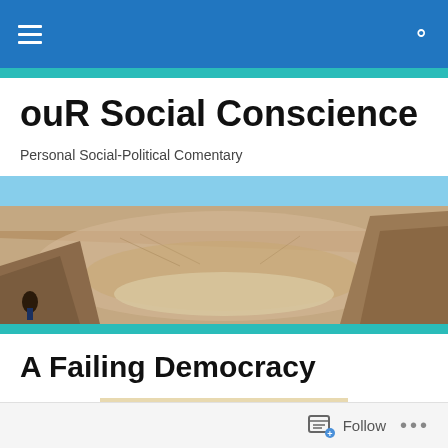ouR Social Conscience — navigation bar
ouR Social Conscience
Personal Social-Political Comentary
[Figure (photo): Wide panoramic photo of a large meteor crater (Barringer Crater) in a desert landscape with blue sky, showing the vast bowl-shaped depression with rocky walls and a flat sandy floor. A small human figure is visible in the lower left.]
A Failing Democracy
[Figure (photo): Photo of the top portion of the United States Constitution parchment document showing the handwritten text 'We the People' in large ornate script at the top.]
Follow  ...